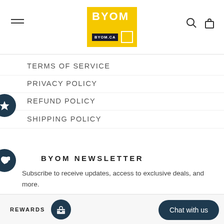[Figure (logo): BYOM logo on yellow background with BYOM.CA tagline]
TERMS OF SERVICE
PRIVACY POLICY
REFUND POLICY
SHIPPING POLICY
BYOM NEWSLETTER
Subscribe to receive updates, access to exclusive deals, and more.
REWARDS
Chat with us